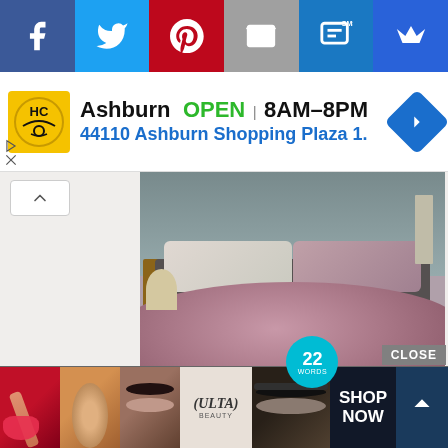[Figure (screenshot): Social media sharing toolbar with Facebook, Twitter, Pinterest, Email, SMS, and VIP/crown buttons]
[Figure (screenshot): Advertisement banner for HC store in Ashburn. Shows logo, OPEN status, hours 8AM-8PM, address 44110 Ashburn Shopping Plaza 1., navigation icon, and ad controls (play/close)]
[Figure (photo): Bedroom scene showing a mauve/dusty rose comforter on a bed with white/grey pillows, wooden nightstand, and grey wall. Has a teal circular logo overlay showing '22 WORDS']
[Figure (screenshot): Bottom advertisement strip for Ulta Beauty showing close button, multiple face/makeup close-up photos, Ulta Beauty logo, eye makeup photo, SHOP NOW button, and scroll-up button]